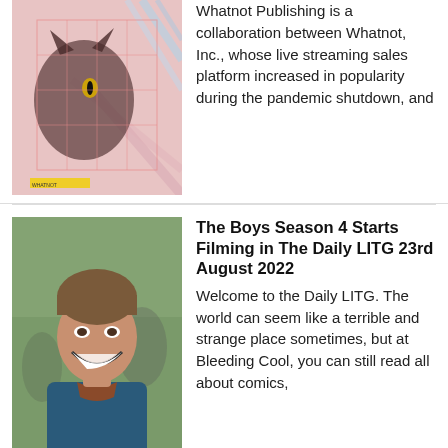[Figure (illustration): Abstract illustrated artwork featuring a cat-like figure with geometric grid overlays in pink and yellow tones]
Whatnot Publishing is a collaboration between Whatnot, Inc., whose live streaming sales platform increased in popularity during the pandemic shutdown, and
[Figure (photo): Smiling man with short hair wearing a blue jacket, photographed outdoors]
The Boys Season 4 Starts Filming in The Daily LITG 23rd August 2022
Welcome to the Daily LITG. The world can seem like a terrible and strange place sometimes, but at Bleeding Cool, you can still read all about comics,
[Figure (illustration): Small comic panel thumbnail with blue background]
Tales of the Human Target